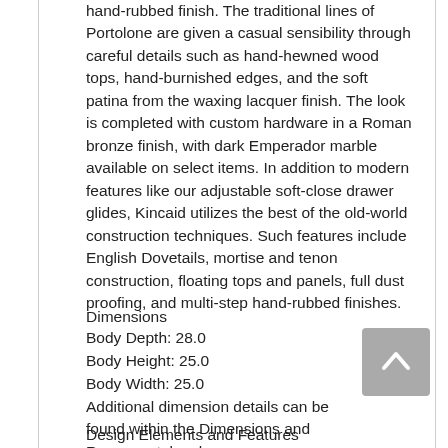hand-rubbed finish. The traditional lines of Portolone are given a casual sensibility through careful details such as hand-hewned wood tops, hand-burnished edges, and the soft patina from the waxing lacquer finish. The look is completed with custom hardware in a Roman bronze finish, with dark Emperador marble available on select items. In addition to modern features like our adjustable soft-close drawer glides, Kincaid utilizes the best of the old-world construction techniques. Such features include English Dovetails, mortise and tenon construction, floating tops and panels, full dust proofing, and multi-step hand-rubbed finishes.
Dimensions
Body Depth: 28.0
Body Height: 25.0
Body Width: 25.0
Additional dimension details can be found within the Dimensions and Resource tabs above.
Design Elements and Features